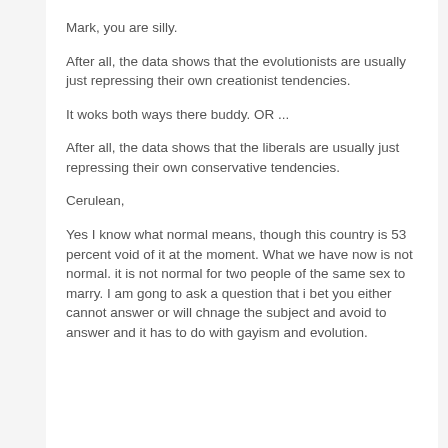Mark, you are silly.
After all, the data shows that the evolutionists are usually just repressing their own creationist tendencies.
It woks both ways there buddy. OR ...
After all, the data shows that the liberals are usually just repressing their own conservative tendencies.
Cerulean,
Yes I know what normal means, though this country is 53 percent void of it at the moment. What we have now is not normal. it is not normal for two people of the same sex to marry. I am gong to ask a question that i bet you either cannot answer or will chnage the subject and avoid to answer and it has to do with gayism and evolution.